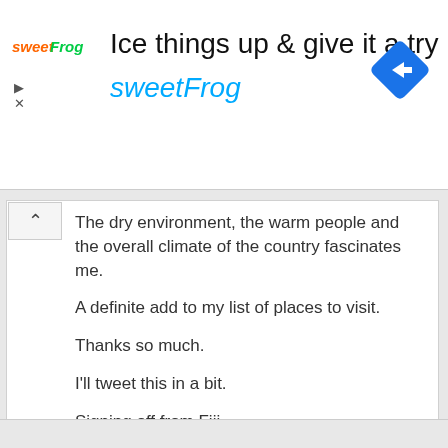[Figure (screenshot): Advertisement banner for sweetFrog with logo, headline 'Ice things up & give it a try', brand name 'sweetFrog' in blue, and a blue navigation arrow icon on the right.]
The dry environment, the warm people and the overall climate of the country fascinates me.

A definite add to my list of places to visit.

Thanks so much.

I'll tweet this in a bit.

Signing off from Fiji.

Ryan
Reply to this comment
Leave a new comment